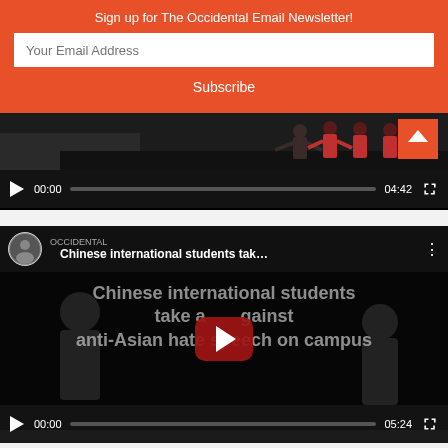Sign up for The Occidental Email Newsletter!
Your Email Address
Subscribe
[Figure (screenshot): Video player showing dancers in red and black outfits performing. Controls show 00:00 current time, 04:42 total duration. Orange scroll-up button visible top right.]
[Figure (screenshot): YouTube video embed showing 'Chinese international students tak...' with channel avatar, three-dot menu. Large text overlay reads 'Chinese international students take a [stand] against anti-Asian hate speech on campus'. Red YouTube play button center. Controls show 00:00 current time, 05:24 total duration.]